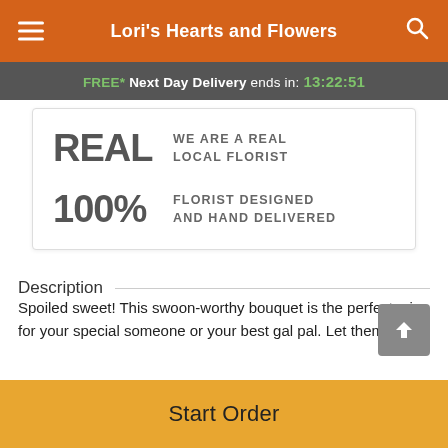Lori's Hearts and Flowers
FREE* Next Day Delivery ends in: 13:22:51
REAL WE ARE A REAL LOCAL FLORIST
100% FLORIST DESIGNED AND HAND DELIVERED
Description
Spoiled sweet! This swoon-worthy bouquet is the perfect mix for your special someone or your best gal pal. Let them
Start Order